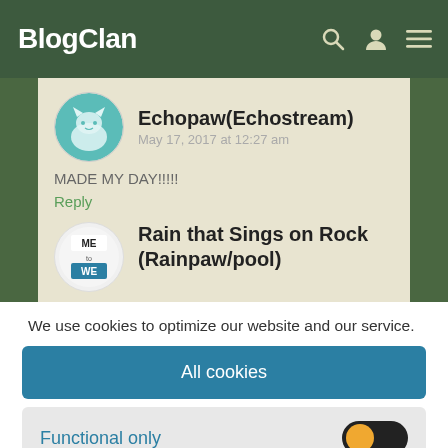BlogClan
Echopaw(Echostream)
May 17, 2017 at 12:27 am
MADE MY DAY!!!!!
Reply
Rain that Sings on Rock (Rainpaw/pool)
We use cookies to optimize our website and our service.
All cookies
Functional only